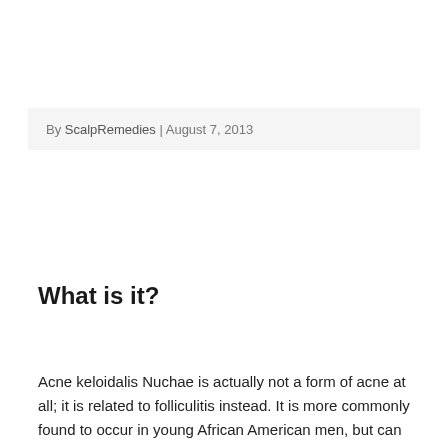By ScalpRemedies | August 7, 2013
What is it?
Acne keloidalis Nuchae is actually not a form of acne at all; it is related to folliculitis instead. It is more commonly found to occur in young African American men, but can